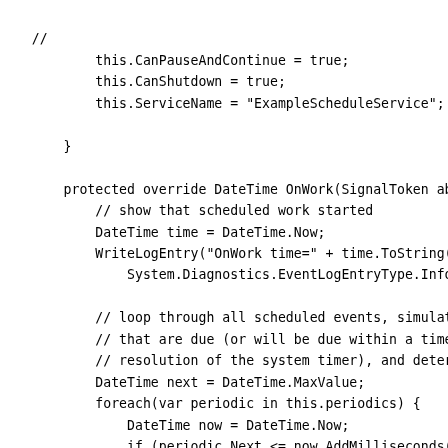// 
            this.CanPauseAndContinue = true;
            this.CanShutdown = true;
            this.ServiceName = "ExampleScheduleService";

        }

        protected override DateTime OnWork(SignalToken ab
            // show that scheduled work started
            DateTime time = DateTime.Now;
            WriteLogEntry("OnWork time=" + time.ToString(
                System.Diagnostics.EventLogEntryType.Info

            // loop through all scheduled events, simulat
            // that are due (or will be due within a time
            // resolution of the system timer), and deter
            DateTime next = DateTime.MaxValue;
            foreach(var periodic in this.periodics) {
                DateTime now = DateTime.Now;
                if (periodic.Next <= now.AddMilliseconds(
                    WriteLogEntry(" processing " + perio
                        System.Diagnostics.EventLogEntryT

                // set up next time for this event, e
                // We need the future check because t
                // OnWork after a long service Pause.
                do {